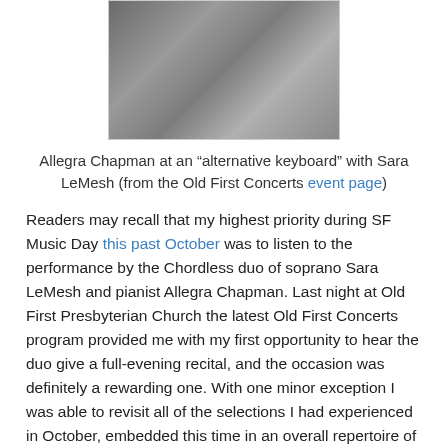[Figure (photo): Photo of scattered papers/notes on a dark surface, showing scattered sheet music or program notes]
Allegra Chapman at an “alternative keyboard” with Sara LeMesh (from the Old First Concerts event page)
Readers may recall that my highest priority during SF Music Day this past October was to listen to the performance by the Chordless duo of soprano Sara LeMesh and pianist Allegra Chapman. Last night at Old First Presbyterian Church the latest Old First Concerts program provided me with my first opportunity to hear the duo give a full-evening recital, and the occasion was definitely a rewarding one. With one minor exception I was able to revisit all of the selections I had experienced in October, embedded this time in an overall repertoire of even wider scope.
The program was presented without intermission but in three distinct sections separated by short pauses. The opening section consisted entirely of music previously performed on